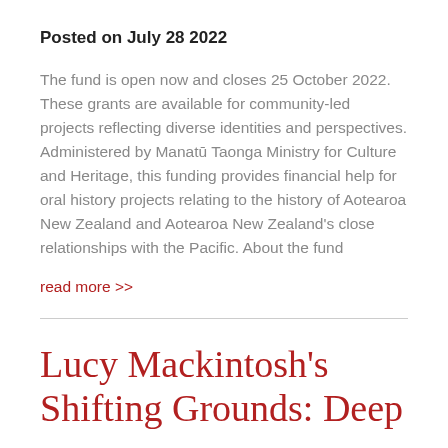Posted on July 28 2022
The fund is open now and closes 25 October 2022. These grants are available for community-led projects reflecting diverse identities and perspectives. Administered by Manatū Taonga Ministry for Culture and Heritage, this funding provides financial help for oral history projects relating to the history of Aotearoa New Zealand and Aotearoa New Zealand's close relationships with the Pacific. About the fund
read more >>
Lucy Mackintosh's Shifting Grounds: Deep